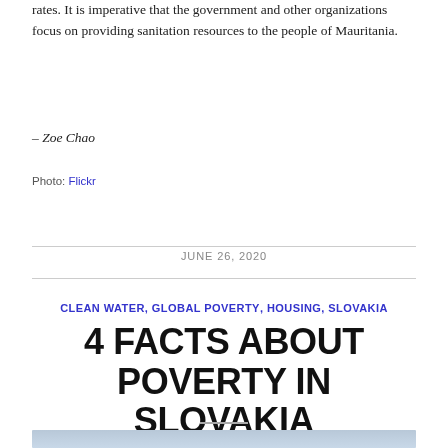rates. It is imperative that the government and other organizations focus on providing sanitation resources to the people of Mauritania.
– Zoe Chao
Photo: Flickr
JUNE 26, 2020
CLEAN WATER, GLOBAL POVERTY, HOUSING, SLOVAKIA
4 FACTS ABOUT POVERTY IN SLOVAKIA
[Figure (photo): Partial view of a sky/landscape photo at the bottom of the page]